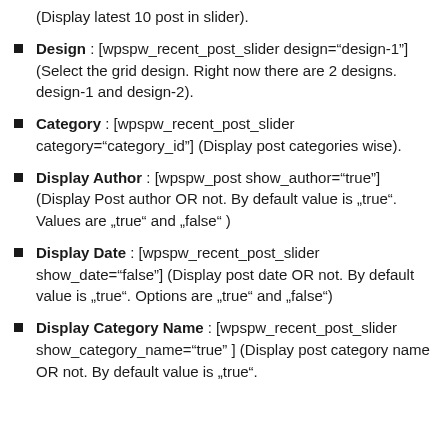(Display latest 10 post in slider).
Design : [wpspw_recent_post_slider design="design-1"] (Select the grid design. Right now there are 2 designs. design-1 and design-2).
Category : [wpspw_recent_post_slider category="category_id"] (Display post categories wise).
Display Author : [wpspw_post show_author="true"] (Display Post author OR not. By default value is „true". Values are „true" and „false" )
Display Date : [wpspw_recent_post_slider show_date="false"] (Display post date OR not. By default value is „true". Options are „true" and „false")
Display Category Name : [wpspw_recent_post_slider show_category_name="true" ] (Display post category name OR not. By default value is „true".